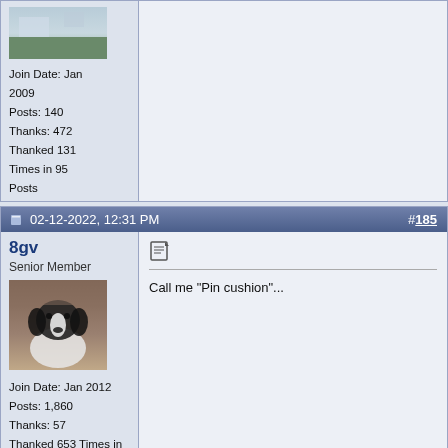Join Date: Jan 2009
Posts: 140
Thanks: 472
Thanked 131 Times in 95 Posts
[Figure (photo): Offline status icon (globe/sphere) for previous poster]
02-12-2022, 12:31 PM
#185
8gv
Senior Member
[Figure (photo): Avatar photo of a black and white dog (springer spaniel) sitting and looking at camera]
Join Date: Jan 2012
Posts: 1,860
Thanks: 57
Thanked 653 Times in 421 Posts
[Figure (photo): Offline status icon (globe/sphere) for 8gv]
Call me "Pin cushion"...
02-12-2022, 12:37 PM